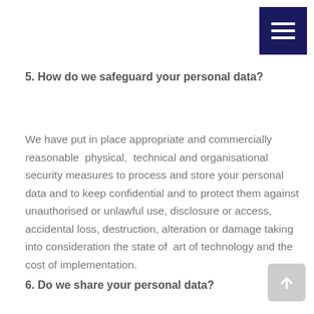[Figure (other): Dark navy blue hamburger menu button with three horizontal white lines]
5. How do we safeguard your personal data?
We have put in place appropriate and commercially reasonable  physical,  technical and organisational security measures to process and store your personal data and to keep confidential and to protect them against unauthorised or unlawful use, disclosure or access, accidental loss, destruction, alteration or damage taking into consideration the state of  art of technology and the cost of implementation.
6. Do we share your personal data?
[Figure (other): Light grey scroll-to-top button with upward arrow icon]